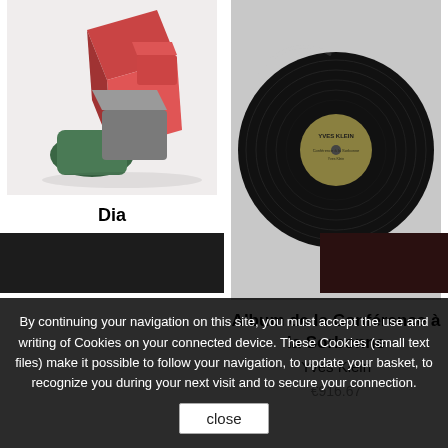[Figure (photo): Colorful geometric ceramic or cardboard boxes/cubes in red, dark green, and gray on white background]
Dia
Raffaella della Olga
€900.47
[Figure (photo): Vinyl record with olive/gold label reading YVES KLEIN, on white sleeve background]
Album de la Conférence à la Sorbonne
Yves Klein
€916.67
By continuing your navigation on this site, you must accept the use and writing of Cookies on your connected device. These Cookies (small text files) make it possible to follow your navigation, to update your basket, to recognize you during your next visit and to secure your connection.
close